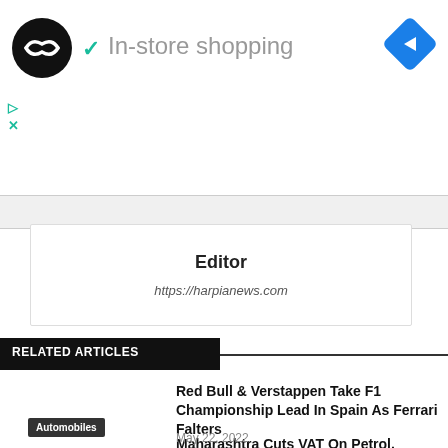[Figure (screenshot): Ad banner showing a black circular logo with arrows, a teal checkmark, 'In-store shopping' text in gray, and a blue diamond navigation icon on the right. Play and close (X) icons in teal on the left below the logo.]
Editor
https://harpianews.com
RELATED ARTICLES
Red Bull & Verstappen Take F1 Championship Lead In Spain As Ferrari Falters
May 22, 2022
Automobiles
Maharashtra Cuts VAT On Petrol, Diesel Post Centre's Excise Duty Reduction